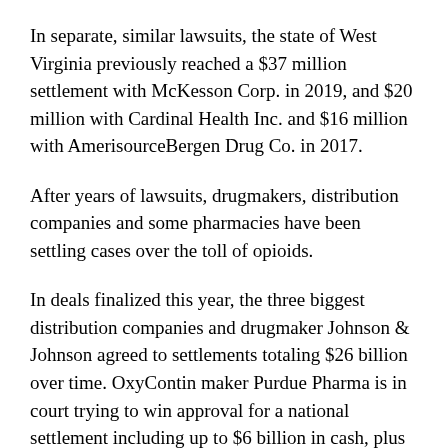In separate, similar lawsuits, the state of West Virginia previously reached a $37 million settlement with McKesson Corp. in 2019, and $20 million with Cardinal Health Inc. and $16 million with AmerisourceBergen Drug Co. in 2017.
After years of lawsuits, drugmakers, distribution companies and some pharmacies have been settling cases over the toll of opioids.
In deals finalized this year, the three biggest distribution companies and drugmaker Johnson & Johnson agreed to settlements totaling $26 billion over time. OxyContin maker Purdue Pharma is in court trying to win approval for a national settlement including up to $6 billion in cash, plus using future profits from a remade version of the company to fight the opioid crisis.
In other settlements this year, the distributors have